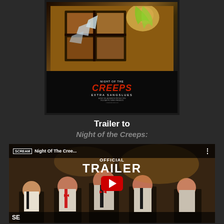[Figure (photo): Movie poster for Night of the Creeps (French title: Extra Sangslues) showing broken glass and horror imagery with red dripping lettering]
Trailer to
Night of the Creeps:
[Figure (screenshot): YouTube video thumbnail for Night of the Creeps Official Trailer, showing SCREAM logo, 'OFFICIAL TRAILER' text, YouTube play button, and men in tuxedos]